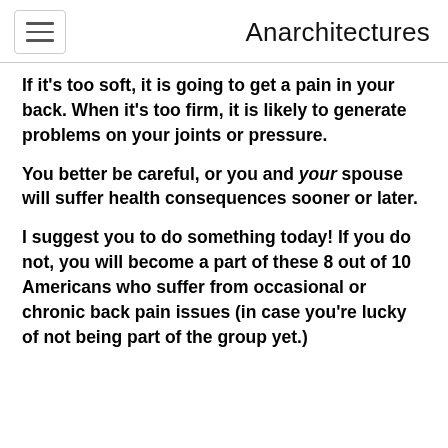Anarchitectures
If it's too soft, it is going to get a pain in your back. When it's too firm, it is likely to generate problems on your joints or pressure.
You better be careful, or you and your spouse will suffer health consequences sooner or later.
I suggest you to do something today! If you do not, you will become a part of these 8 out of 10 Americans who suffer from occasional or chronic back pain issues (in case you're lucky of not being part of the group yet.)